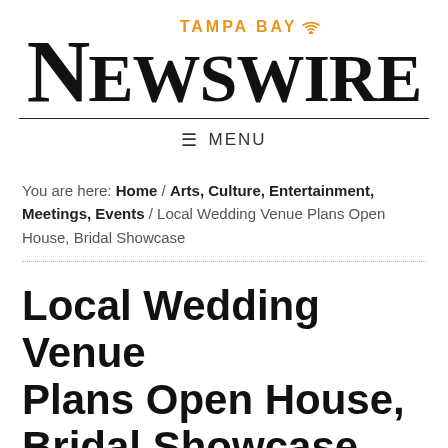TAMPA BAY NEWSWIRE
≡ MENU
You are here: Home / Arts, Culture, Entertainment, Meetings, Events / Local Wedding Venue Plans Open House, Bridal Showcase
Local Wedding Venue Plans Open House, Bridal Showcase